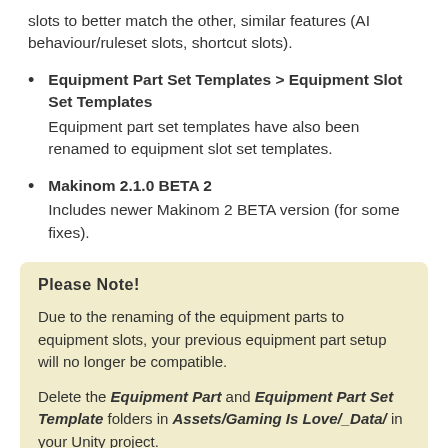slots to better match the other, similar features (AI behaviour/ruleset slots, shortcut slots).
Equipment Part Set Templates > Equipment Slot Set Templates
Equipment part set templates have also been renamed to equipment slot set templates.
Makinom 2.1.0 BETA 2
Includes newer Makinom 2 BETA version (for some fixes).
Please Note!
Due to the renaming of the equipment parts to equipment slots, your previous equipment part setup will no longer be compatible.
Delete the Equipment Part and Equipment Part Set Template folders in Assets/Gaming Is Love/_Data/ in your Unity project.